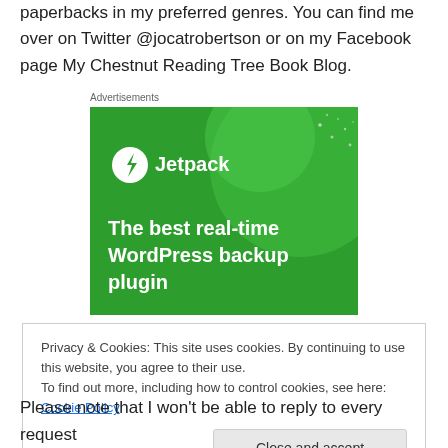paperbacks in my preferred genres. You can find me over on Twitter @jocatrobertson or on my Facebook page My Chestnut Reading Tree Book Blog.
Advertisements
[Figure (illustration): Jetpack advertisement banner: green background with large circle shapes, Jetpack logo (lightning bolt in circle) and text 'The best real-time WordPress backup plugin']
Privacy & Cookies: This site uses cookies. By continuing to use this website, you agree to their use.
To find out more, including how to control cookies, see here: Cookie Policy
Close and accept
Please note that I won't be able to reply to every request